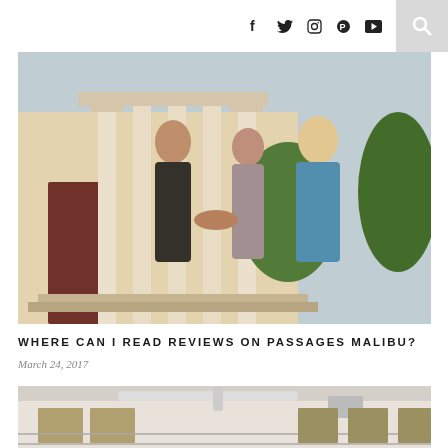Social icons: f (Facebook), Twitter bird, Instagram camera, Pinterest circle, YouTube play button; Search icon
[Figure (photo): Three women greeting each other with a handshake in front of a grand building with white columns. One woman wears black, another wears a floral blouse, and the third wears a blue top.]
WHERE CAN I READ REVIEWS ON PASSAGES MALIBU?
March 24, 2017
[Figure (photo): Partial image of a building exterior showing pipes and windows, appears to be an industrial or treatment facility.]